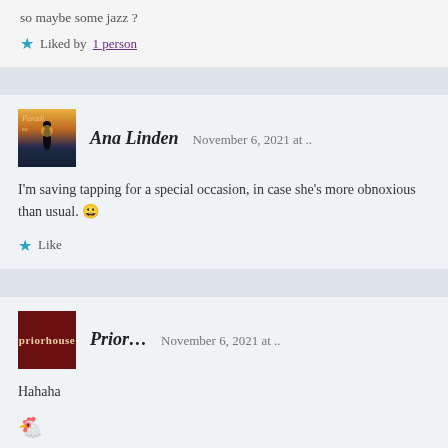so maybe some jazz?
★ Liked by 1 person
Ana Linden  November 6, 2021 at ..
I'm saving tapping for a special occasion, in case she's more obnoxious than usual. 😀
★ Like
Prior...  November 6, 2021 at ..
Hahaha